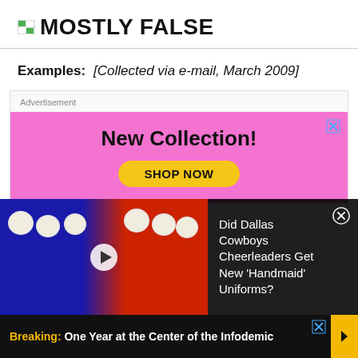MOSTLY FALSE
Examples: [Collected via e-mail, March 2009]
[Figure (other): Advertisement box with pink background showing 'New Collection! SHOP NOW' banner ad with a close button]
[Figure (photo): Video thumbnail showing people in blue and red Handmaid's Tale-style costumes with white bonnets, overlaid with text: Did Dallas Cowboys Cheerleaders Get New 'Handmaid' Uniforms?]
Breaking: One Year at the Center of the Infodemic